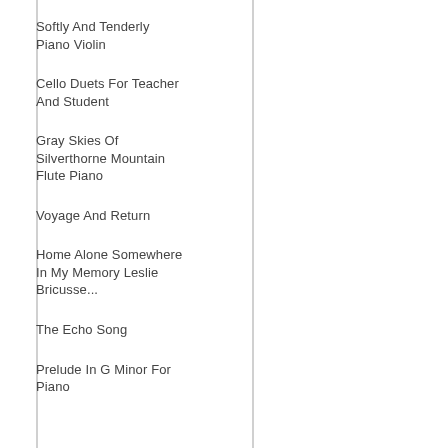Softly And Tenderly Piano Violin
Cello Duets For Teacher And Student
Gray Skies Of Silverthorne Mountain Flute Piano
Voyage And Return
Home Alone Somewhere In My Memory Leslie Bricusse...
The Echo Song
Prelude In G Minor For Piano